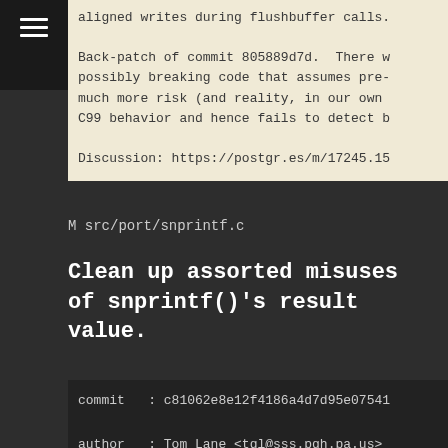aligned writes during flushbuffer calls.

Back-patch of commit 805889d7d.  There w
possibly breaking code that assumes pre-
much more risk (and reality, in our own
C99 behavior and hence fails to detect b

Discussion: https://postgr.es/m/17245.15
M src/port/snprintf.c
Clean up assorted misuses of snprintf()'s result value.
commit   : c81062e8e12f4186a4d7d95e07541
author   : Tom Lane <tgl@sss.pgh.pa.us>